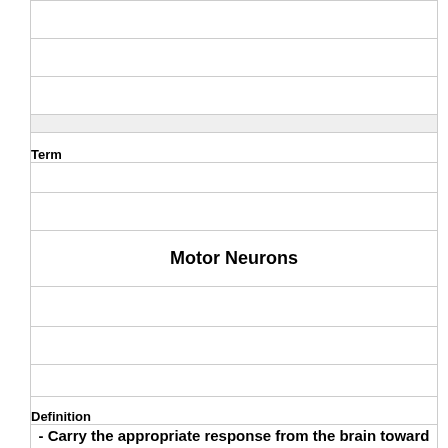| Term | Definition |
| --- | --- |
|  |  |
|  |  |
|  |  |
| Motor Neurons | - Carry the appropriate response from the brain toward the spinal cord or out of the brain and spinal cord to effectors (muscles and glands) through cranial and spinal nerves. |